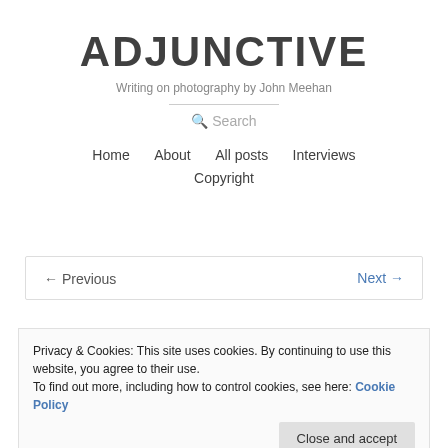ADJUNCTIVE
Writing on photography by John Meehan
Search
Home   About   All posts   Interviews   Copyright
← Previous   Next →
Privacy & Cookies: This site uses cookies. By continuing to use this website, you agree to their use.
To find out more, including how to control cookies, see here: Cookie Policy
Close and accept
Photography